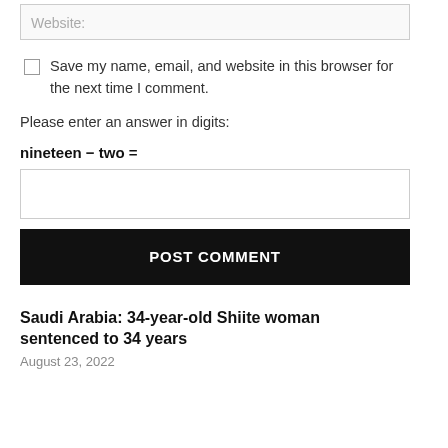[Figure (screenshot): Website input field (form text box) with placeholder text 'Website:']
Save my name, email, and website in this browser for the next time I comment.
Please enter an answer in digits:
nineteen − two =
[Figure (screenshot): Empty text input field for math answer]
POST COMMENT
Saudi Arabia: 34-year-old Shiite woman sentenced to 34 years
August 23, 2022